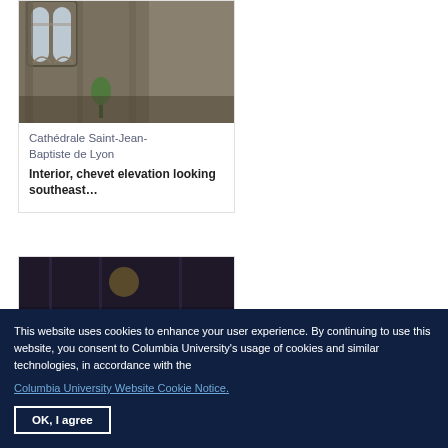[Figure (photo): Interior of Cathédrale Saint-Jean-Baptiste de Lyon showing gothic arched windows and stone architecture]
Cathédrale Saint-Jean-Baptiste de Lyon
Interior, chevet elevation looking southeast…
[Figure (photo): Partial view of another cathedral interior, dark tones]
This website uses cookies to enhance your user experience. By continuing to use this website, you consent to Columbia University's usage of cookies and similar technologies, in accordance with the
Columbia University Website Cookie Notice.
OK, I agree